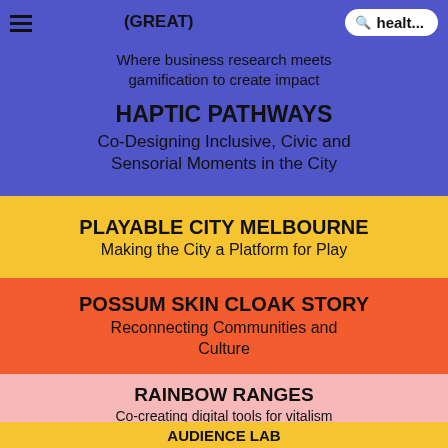(GREAT) — Where business research meets gamification to create impact
HAPTIC PATHWAYS
Co-Designing Inclusive, Civic and Sensorial Moments in the City
PLAYABLE CITY MELBOURNE
Making the City a Platform for Play
POSSUM SKIN CLOAK STORY
Reconnecting Communities and Culture
RAINBOW RANGES
Co-creating digital tools for vitalism with LGBTQI+ youth
AUDIENCE LAB
Exploring the future of audiences and…